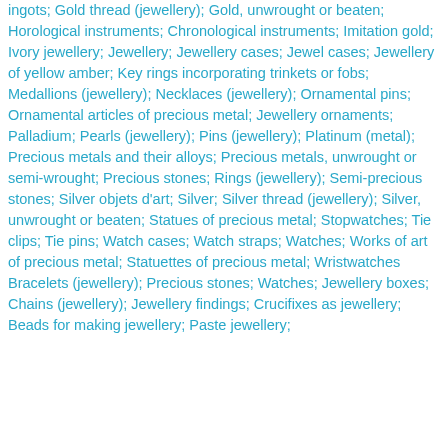ingots; Gold thread (jewellery); Gold, unwrought or beaten; Horological instruments; Chronological instruments; Imitation gold; Ivory jewellery; Jewellery; Jewellery cases; Jewel cases; Jewellery of yellow amber; Key rings incorporating trinkets or fobs; Medallions (jewellery); Necklaces (jewellery); Ornamental pins; Ornamental articles of precious metal; Jewellery ornaments; Palladium; Pearls (jewellery); Pins (jewellery); Platinum (metal); Precious metals and their alloys; Precious metals, unwrought or semi-wrought; Precious stones; Rings (jewellery); Semi-precious stones; Silver objets d'art; Silver; Silver thread (jewellery); Silver, unwrought or beaten; Statues of precious metal; Stopwatches; Tie clips; Tie pins; Watch cases; Watch straps; Watches; Works of art of precious metal; Statuettes of precious metal; Wristwatches
Bracelets (jewellery); Precious stones; Watches; Jewellery boxes; Chains (jewellery); Jewellery findings; Crucifixes as jewellery; Beads for making jewellery; Paste jewellery;